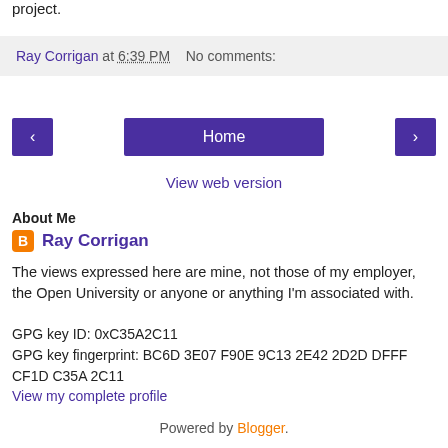project.
Ray Corrigan at 6:39 PM   No comments:
[Figure (other): Navigation row with left arrow button, Home button, and right arrow button]
View web version
About Me
Ray Corrigan
The views expressed here are mine, not those of my employer, the Open University or anyone or anything I'm associated with.
GPG key ID: 0xC35A2C11
GPG key fingerprint: BC6D 3E07 F90E 9C13 2E42 2D2D DFFF CF1D C35A 2C11
View my complete profile
Powered by Blogger.